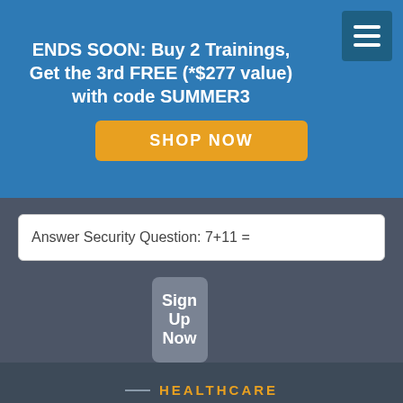ENDS SOON: Buy 2 Trainings, Get the 3rd FREE (*$277 value) with code SUMMER3
SHOP NOW
Answer Security Question: 7+11 =
Sign Up Now
[Figure (logo): Healthcare Training Leader logo with orange checkmark and orange HEALTHCARE text above TRAINING LEADER]
Online Training Topics
ALL TRAININGS
Appeals
Billing
Coding
[Figure (infographic): Social media icons: Facebook, Twitter, LinkedIn]